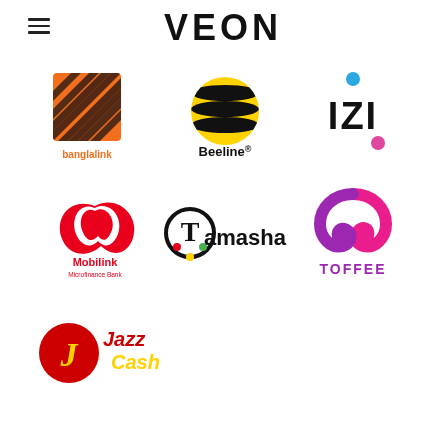[Figure (logo): VEON company logo in bold dark letters at top center]
[Figure (logo): Banglalink logo - orange square with zebra stripe pattern and 'banglalink' text]
[Figure (logo): Beeline logo - black and yellow bee-striped circle with 'Beeline' text]
[Figure (logo): IZI logo - colorful dots above 'IZI' text]
[Figure (logo): Mobilink Microfinance Bank logo - red swoosh M with text]
[Figure (logo): Tamasha logo - stylized T circle with 'Tamasha' text]
[Figure (logo): Toffee logo - pink/purple swirl icon with TOFFEE text]
[Figure (logo): JazzCash logo - red and yellow stylized text]